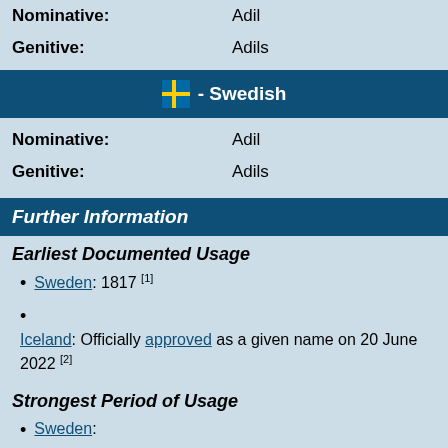Nominative: Adil
Genitive: Adils
- Swedish
Nominative: Adil
Genitive: Adils
Further Information
Earliest Documented Usage
Sweden: 1817 [1]
Iceland: Officially approved as a given name on 20 June 2022 [2]
Strongest Period of Usage
Sweden:
1865-1890 [3]